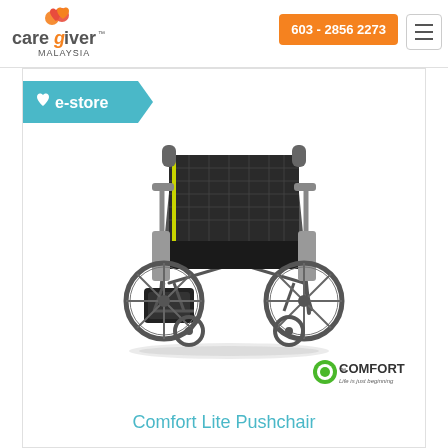[Figure (logo): Caregiver Malaysia logo with heart icon]
603 - 2856 2273
[Figure (logo): e-store banner with heart icon]
[Figure (photo): Comfort Lite Pushchair wheelchair with black mesh back, yellow trim, grey metal frame, small rear wheels and front caster wheels]
[Figure (logo): COMFORT Life is just beginning logo]
Comfort Lite Pushchair